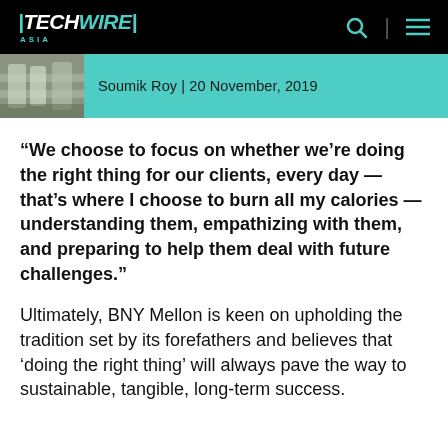TECHWIRE ASIA
[Figure (screenshot): Article thumbnail image showing manufacturing/industrial equipment with bottles on a conveyor belt]
Soumik Roy | 20 November, 2019
“We choose to focus on whether we’re doing the right thing for our clients, every day — that’s where I choose to burn all my calories — understanding them, empathizing with them, and preparing to help them deal with future challenges.”
Ultimately, BNY Mellon is keen on upholding the tradition set by its forefathers and believes that ‘doing the right thing’ will always pave the way to sustainable, tangible, long-term success.